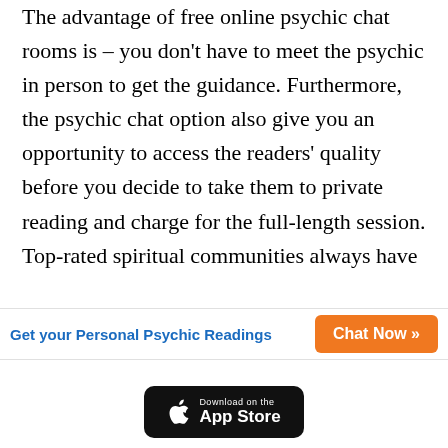The advantage of free online psychic chat rooms is – you don't have to meet the psychic in person to get the guidance. Furthermore, the psychic chat option also give you an opportunity to access the readers' quality before you decide to take them to private reading and charge for the full-length session. Top-rated spiritual communities always have ...
[Figure (infographic): Banner with blue text 'Get your Personal Psychic Readings' and an orange button 'Chat Now »']
[Figure (infographic): Download on the App Store button (black rounded rectangle with Apple logo)]